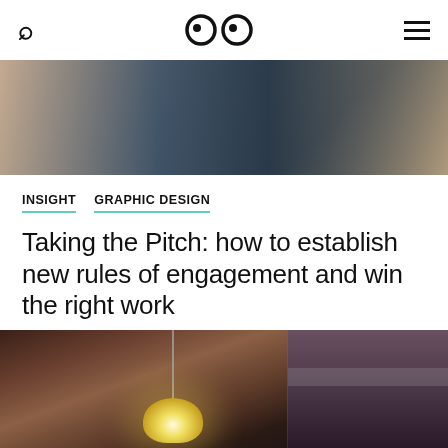Search | Logo | Menu
[Figure (photo): Top hero image showing people in a meeting/cafe setting, warm tones]
INSIGHT   GRAPHIC DESIGN
Taking the Pitch: how to establish new rules of engagement and win the right work
29 January 2019
[Figure (photo): Bottom hero image showing interior with pendant lamp and warm dark tones]